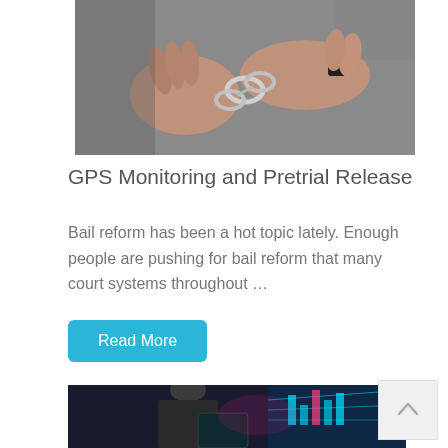[Figure (photo): Close-up photo of two hands in handcuffs, one person wearing a dark bracelet/watch on their wrist]
GPS Monitoring and Pretrial Release
Bail reform has been a hot topic lately. Enough people are pushing for bail reform that many court systems throughout …
Read More
[Figure (photo): Person in business suit holding a tablet with holographic digital data charts displayed]